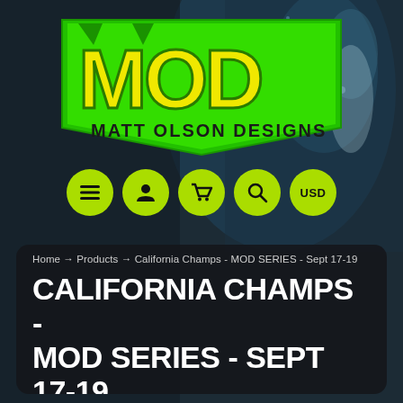[Figure (logo): MOD - Matt Olson Designs logo in yellow-green on dark background with abstract motorcycle/water imagery]
[Figure (screenshot): Navigation icons row: hamburger menu, user, cart, search, USD currency selector — all on lime green circles]
Home → Products → California Champs - MOD SERIES - Sept 17-19
CALIFORNIA CHAMPS - MOD SERIES - SEPT 17-19
[Figure (screenshot): White product image area at bottom of panel, partially visible]